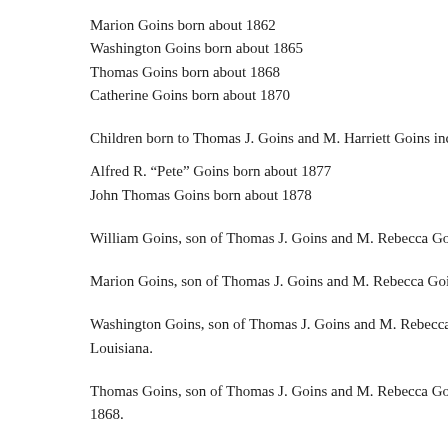Marion Goins born about 1862
Washington Goins born about 1865
Thomas Goins born about 1868
Catherine Goins born about 1870
Children born to Thomas J. Goins and M. Harriett Goins include:
Alfred R. “Pete” Goins born about 1877
John Thomas Goins born about 1878
William Goins, son of Thomas J. Goins and M. Rebecca Goins,
Marion Goins, son of Thomas J. Goins and M. Rebecca Goins,
Washington Goins, son of Thomas J. Goins and M. Rebecca Goins, Louisiana.
Thomas Goins, son of Thomas J. Goins and M. Rebecca Goins, 1868.